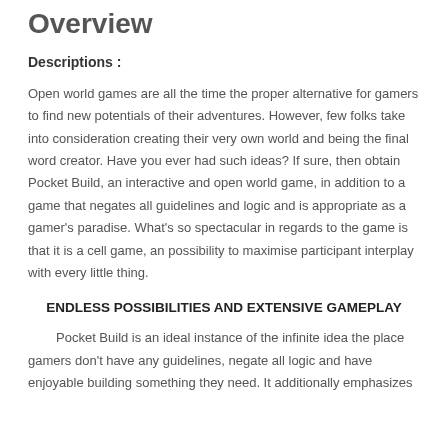Overview
Descriptions :
Open world games are all the time the proper alternative for gamers to find new potentials of their adventures. However, few folks take into consideration creating their very own world and being the final word creator. Have you ever had such ideas? If sure, then obtain Pocket Build, an interactive and open world game, in addition to a game that negates all guidelines and logic and is appropriate as a gamer's paradise. What's so spectacular in regards to the game is that it is a cell game, an possibility to maximise participant interplay with every little thing.
ENDLESS POSSIBILITIES AND EXTENSIVE GAMEPLAY
Pocket Build is an ideal instance of the infinite idea the place gamers don't have any guidelines, negate all logic and have enjoyable building something they need. It additionally emphasizes